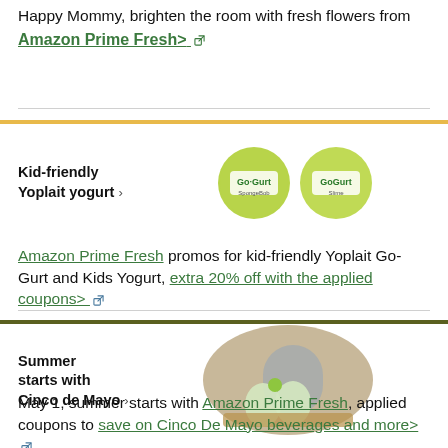Happy Mommy, brighten the room with fresh flowers from Amazon Prime Fresh>
[Figure (illustration): Yoplait Go-Gurt yogurt product promo with two circular images of Go-Gurt packaging on green backgrounds, labeled 'Kid-friendly Yoplait yogurt >']
Amazon Prime Fresh promos for kid-friendly Yoplait Go-Gurt and Kids Yogurt, extra 20% off with the applied coupons>
[Figure (photo): Person squeezing lime into drinks for Cinco de Mayo, labeled 'Summer starts with Cinco de Mayo >']
May 1, summer starts with Amazon Prime Fresh, applied coupons to save on Cinco De Mayo beverages and more>